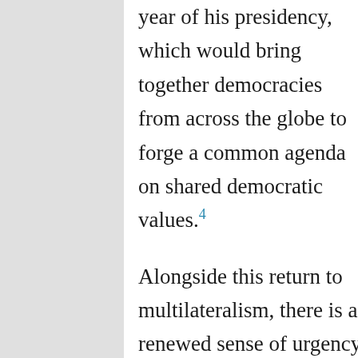year of his presidency, which would bring together democracies from across the globe to forge a common agenda on shared democratic values.4
Alongside this return to multilateralism, there is a renewed sense of urgency towards the need to strengthen international multilateral mechanisms so as to create more equitable